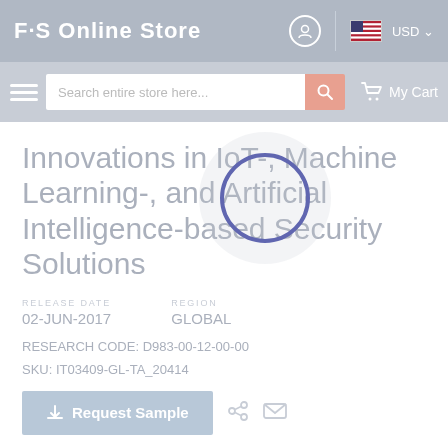F·S Online Store  USD
[Figure (screenshot): Search bar with hamburger menu, search input field, and My Cart button]
Innovations in IoT-, Machine Learning-, and Artificial Intelligence-based Security Solutions
RELEASE DATE
02-JUN-2017
REGION
GLOBAL
RESEARCH CODE: D983-00-12-00-00
SKU: IT03409-GL-TA_20414
[Figure (other): Request Sample button with download icon, share icon, and email icon]